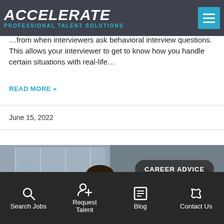ACCELERATE PROFESSIONAL TALENT SOLUTIONS
...from when interviewers ask behavioral interview questions. This allows your interviewer to get to know how you handle certain situations with real-life...
READ MORE »
June 15, 2022
[Figure (photo): A smiling woman with glasses and dark hair holding papers in a professional office setting, with another person partially visible on the right. A 'CAREER ADVICE' badge overlays the image.]
Search Jobs | Request Talent | Blog | Contact Us